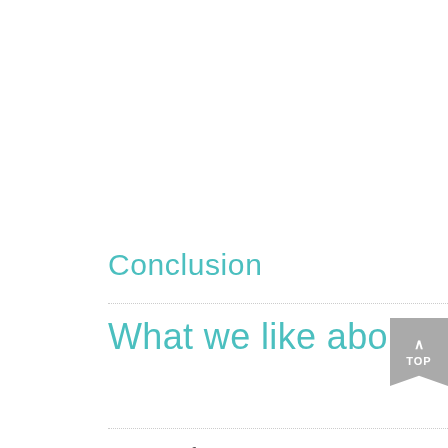Conclusion
What we like about HotspotShield:
Ease of use
Risk-free trial
Free basic client